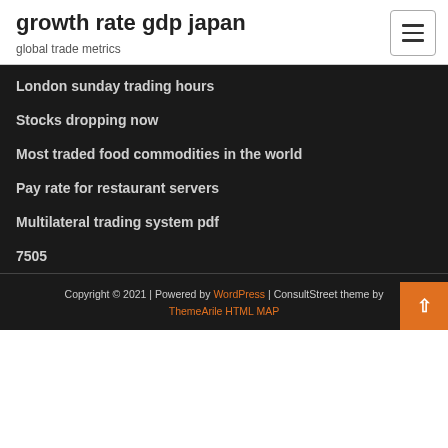growth rate gdp japan
global trade metrics
London sunday trading hours
Stocks dropping now
Most traded food commodities in the world
Pay rate for restaurant servers
Multilateral trading system pdf
7505
Copyright © 2021 | Powered by WordPress | ConsultStreet theme by ThemeArile HTML MAP